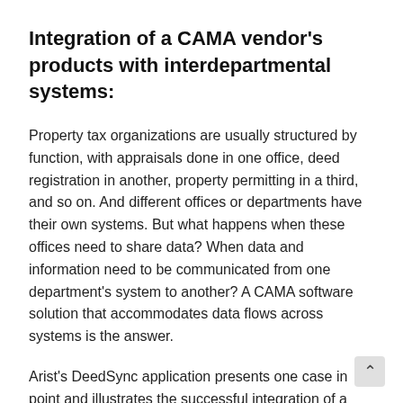Integration of a CAMA vendor's products with interdepartmental systems:
Property tax organizations are usually structured by function, with appraisals done in one office, deed registration in another, property permitting in a third, and so on. And different offices or departments have their own systems. But what happens when these offices need to share data? When data and information need to be communicated from one department's system to another? A CAMA software solution that accommodates data flows across systems is the answer.
Arist's DeedSync application presents one case in point and illustrates the successful integration of a CAMA vendor's product with interdepartmental systems — in this